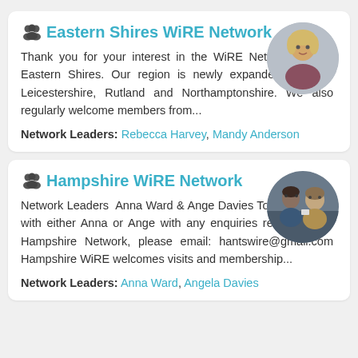Eastern Shires WiRE Network
Thank you for your interest in the WiRE Network for the Eastern Shires. Our region is newly expanded to cover Leicestershire, Rutland and Northamptonshire. We also regularly welcome members from...
Network Leaders: Rebecca Harvey, Mandy Anderson
[Figure (photo): Circular portrait photo of a blonde woman]
Hampshire WiRE Network
Network Leaders  Anna Ward & Ange Davies To get in touch with either Anna or Ange with any enquiries regarding the Hampshire Network, please email: hantswire@gmail.com Hampshire WiRE welcomes visits and membership...
Network Leaders: Anna Ward, Angela Davies
[Figure (photo): Circular photo of two women standing together]